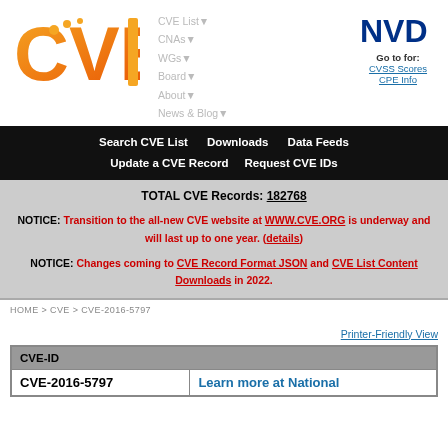[Figure (logo): CVE logo - orange gradient letters]
CVE List▼
CNAs▼
WGs▼
Board▼
About▼
News & Blog▼
[Figure (logo): NVD logo - dark blue bold letters]
Go to for:
CVSS Scores
CPE Info
Search CVE List    Downloads    Data Feeds
Update a CVE Record    Request CVE IDs
TOTAL CVE Records: 182768

NOTICE: Transition to the all-new CVE website at WWW.CVE.ORG is underway and will last up to one year. (details)

NOTICE: Changes coming to CVE Record Format JSON and CVE List Content Downloads in 2022.
HOME > CVE > CVE-2016-5797
Printer-Friendly View
| CVE-ID |  |
| --- | --- |
| CVE-2016-5797 | Learn more at National |